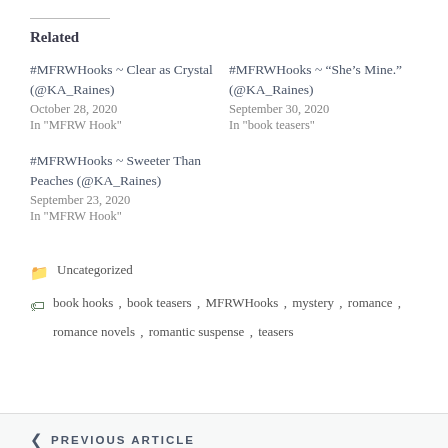Related
#MFRWHooks ~ Clear as Crystal (@KA_Raines)
October 28, 2020
In "MFRW Hook"
#MFRWHooks ~ “She’s Mine.” (@KA_Raines)
September 30, 2020
In "book teasers"
#MFRWHooks ~ Sweeter Than Peaches (@KA_Raines)
September 23, 2020
In "MFRW Hook"
Uncategorized
book hooks , book teasers , MFRWHooks , mystery , romance , romance novels , romantic suspense , teasers
< PREVIOUS ARTICLE